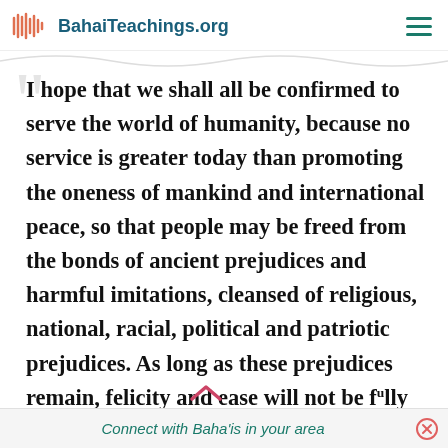BahaiTeachings.org
I hope that we shall all be confirmed to serve the world of humanity, because no service is greater today than promoting the oneness of mankind and international peace, so that people may be freed from the bonds of ancient prejudices and harmful imitations, cleansed of religious, national, racial, political and patriotic prejudices. As long as these prejudices remain, felicity and ease will not be fully revealed in the
Connect with Baha'is in your area